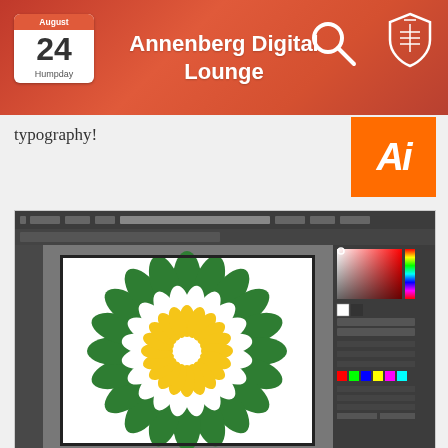Annenberg Digital Lounge — August 24 Humpday
typography!
[Figure (screenshot): Screenshot of Adobe Illustrator application window showing a BP-style sunflower logo being created with green and yellow petals, with color panel visible on the right side.]
ADOBE ILLUSTRATOR 101
BY AUDEY SHEN, 4/20/2016
In this workshop, led by Adobe rep, Audey Shen, learn the basics of Adobe Illustrator. The workshop covers simple techniques like the pen, shape, and 3D tool to create your next graphic! In this workshop, led by Adobe rep, Audey Shen, learn the basics of Adobe Illustrator. The workshop covers simple techniques like the pen,